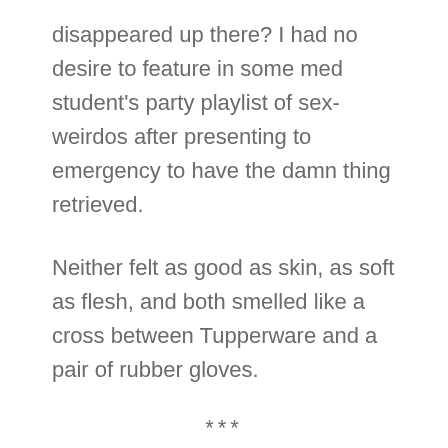disappeared up there? I had no desire to feature in some med student's party playlist of sex-weirdos after presenting to emergency to have the damn thing retrieved.
Neither felt as good as skin, as soft as flesh, and both smelled like a cross between Tupperware and a pair of rubber gloves.
***
A recent trip to a sex shop revealed another round of innovation in Bobs,